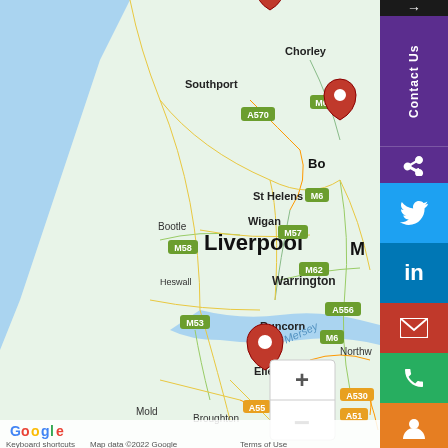[Figure (map): Google Maps screenshot showing the northwest England region including Liverpool, Chester, Wigan, Warrington, St Helens, Runcorn, Ellesmere Port, Southport, Bootle, Heswall, Mold, Broughton, Northwich, Chorley. Three red pin markers are visible: one near the top center (Southport area), one at right center (Bolton/Bury area), and one at Chester. Map includes motorway labels M57, M58, M62, M6, M61, M53, A570, A556, A55, A41, A51, A530. River Mersey is visible. Google logo and attribution text at bottom reading 'Keyboard shortcuts | Map data ©2022 Google | Terms of Use'.]
Contact Us